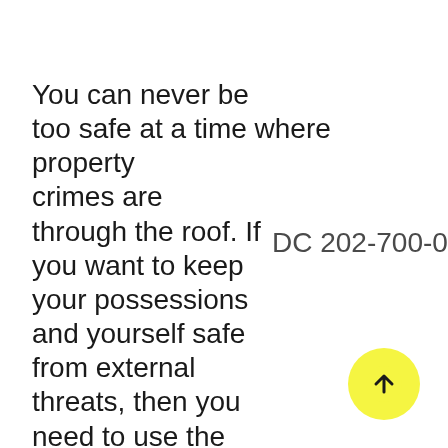You can never be too safe at a time DC 202-700-0040 where property crimes are through the roof. If you want to keep your possessions and yourself safe from external threats, then you need to use the best quality locks for your property from the most trusted manufacturers in the business. Deadbolts are proven and time-tested locks that can make a building nearly impregnable, if used right. DC Locksmith Service's 24 hour emergency locksmith service is available in Washington, DC to install